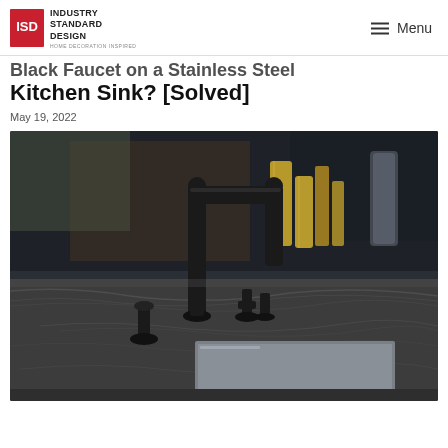Industry Standard Design — Menu
Black Faucet on a Stainless Steel Kitchen Sink? [Solved]
May 19, 2022
[Figure (photo): A black matte faucet with side sprayer mounted on a dark marble/granite countertop with an undermount stainless steel kitchen sink. Gold cylindrical decorative objects visible in the background along with a modern kitchen setting.]